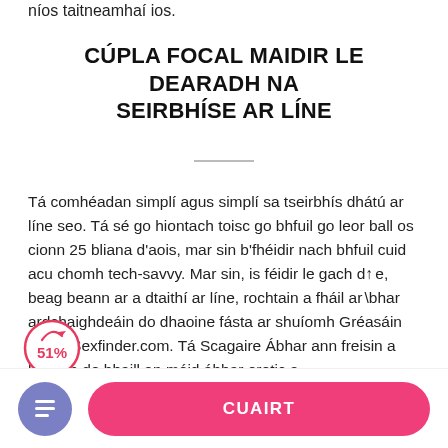níos taitneamhaí ios.
CÚPLA FOCAL MAIDIR LE DEARADH NA SEIRBHÍSE AR LÍNE
Tá comhéadan simplí agus simplí sa tseirbhís dhátú ar líne seo. Tá sé go hiontach toisc go bhfuil go leor ball os cionn 25 bliana d'aois, mar sin b'fhéidir nach bhfuil cuid acu chomh tech-savvy. Mar sin, is féidir le gach duine, beag beann ar a dtaithí ar líne, rochtain a fháil ar ábhar ardchaighdeáin do dhaoine fásta ar shuíomh Gréasáin dhátú Sexfinder.com. Tá Scagaire Ábhar ann freisin a ligeann do bhaill an méid ábhar erotic a
[Figure (other): 51% badge circle indicator with red border and arrow]
CUAIRT